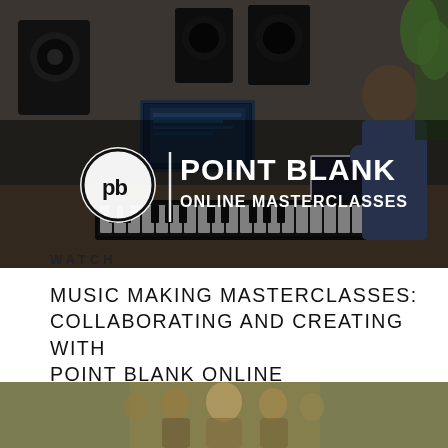[Figure (photo): A music producer sitting at a studio workstation with keyboards, monitors, speakers and a laptop. Overlaid with Point Blank Online Masterclasses logo and text.]
WATCH
MUSIC MAKING MASTERCLASSES: COLLABORATING AND CREATING WITH POINT BLANK ONLINE
[Figure (photo): An illustrated or stylized group photo with multiple people on an olive/khaki background, centered in frame.]